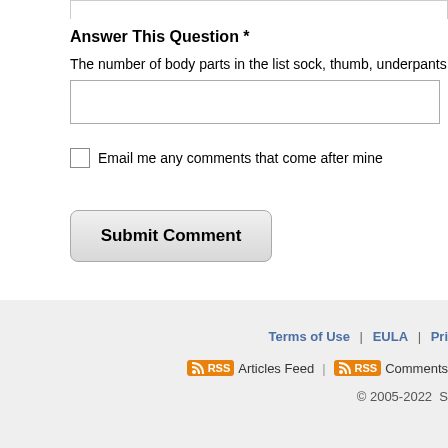Answer This Question  *
The number of body parts in the list sock, thumb, underpants, horse, shirt and sw
Email me any comments that come after mine
Submit Comment
Terms of Use  |  EULA  |  Pri
Articles Feed  |  Comments
© 2005-2022  S